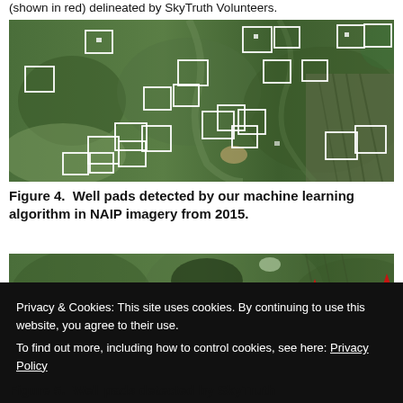(shown in red) delineated by SkyTruth Volunteers.
[Figure (photo): Satellite aerial imagery (NAIP 2015) showing green forested terrain with white bounding boxes highlighting detected well pads locations.]
Figure 4.  Well pads detected by our machine learning algorithm in NAIP imagery from 2015.
[Figure (photo): Satellite aerial imagery showing green terrain with red markers indicating well pads detected by SkyTruth volunteers.]
Privacy & Cookies: This site uses cookies. By continuing to use this website, you agree to their use.
To find out more, including how to control cookies, see here: Privacy Policy
Figure 5.  Well pads detected by SkyTruth